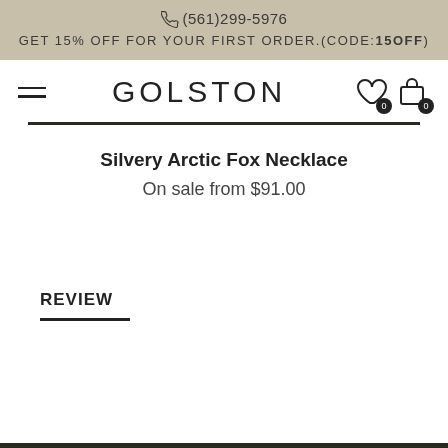☎ (561)299-5976  GET 15% OFF FOR YOUR FIRST ORDER.(CODE:15OFF)
GOLSTON
Silvery Arctic Fox Necklace
On sale from $91.00
REVIEW